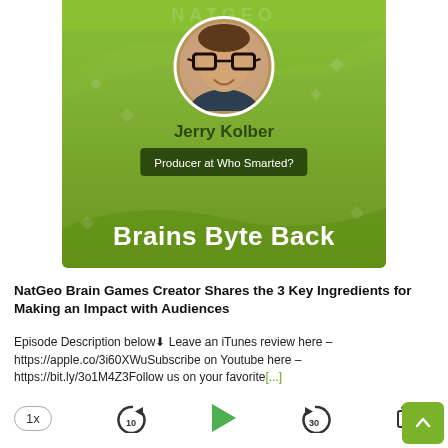[Figure (illustration): Podcast episode card with green gradient background showing a circular headshot of Jerry Kolber (man with glasses), his name, title 'Producer at Who Smarted?', and the podcast name 'Brains Byte Back' in white text]
NatGeo Brain Games Creator Shares the 3 Key Ingredients for Making an Impact with Audiences
Episode Description below⬇ Leave an iTunes review here – https://apple.co/3i60XWuSubscribe on Youtube here – https://bit.ly/3o1M4Z3Follow us on your favorite[...]